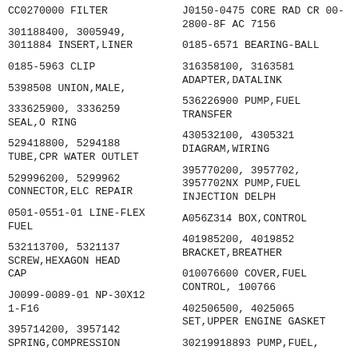CC0270000 FILTER
J0150-0475 CORE RAD CR 00-2800-8F AC 7156
301188400, 3005949, 3011884 INSERT,LINER
0185-6571 BEARING-BALL
0185-5963 CLIP
316358100, 3163581 ADAPTER,DATALINK
5398508 UNION,MALE,
536226900 PUMP,FUEL TRANSFER
333625900, 3336259 SEAL,O RING
430532100, 4305321 DIAGRAM,WIRING
529418800, 5294188 TUBE,CPR WATER OUTLET
395770200, 3957702, 3957702NX PUMP,FUEL INJECTION DELPH
529996200, 5299962 CONNECTOR,ELC REPAIR
A056Z314 BOX,CONTROL
0501-0551-01 LINE-FLEX FUEL
401985200, 4019852 BRACKET,BREATHER
532113700, 5321137 SCREW,HEXAGON HEAD CAP
010076600 COVER,FUEL CONTROL, 100766
J0099-0089-01 NP-30X12 1-F16
402506500, 4025065 SET,UPPER ENGINE GASKET
395714200, 3957142 SPRING,COMPRESSION
30219918893 PUMP,FUEL,
A0535430 INSULATION
0518-0601 SEALANT-THREAD